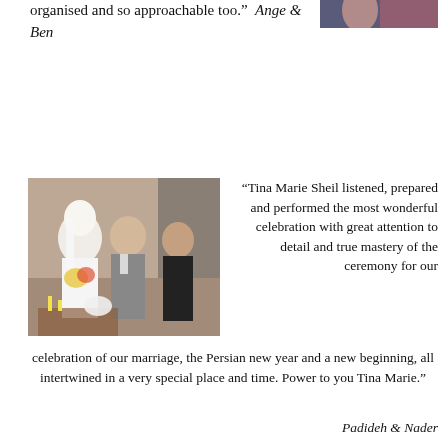organised and so approachable too.”  Ange & Ben
[Figure (photo): Partial photo of a person in blue dress, top right corner]
[Figure (photo): Wedding photo showing bride in white dress and veil holding flowers, groom in grey suit, and celebrant in black dress, standing together indoors]
“Tina Marie Sheil listened, prepared and performed the most wonderful celebration with great attention to detail and true mastery of the ceremony for our celebration of our marriage, the Persian new year and a new beginning, all intertwined in a very special place and time. Power to you Tina Marie.”  Padideh & Nader